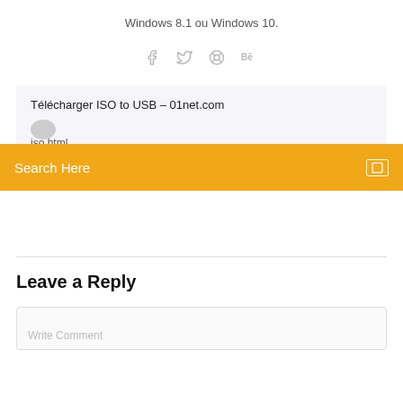Windows 8.1 ou Windows 10.
[Figure (illustration): Social media share icons: Facebook, Twitter, Dribbble, Behance in light gray]
Télécharger ISO to USB – 01net.com
iso.html
Search Here
Leave a Reply
Write Comment